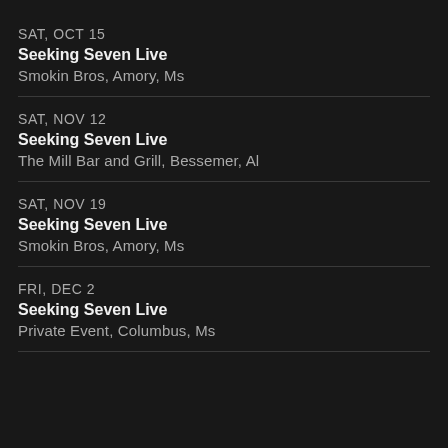SAT, OCT 15
Seeking Seven Live
Smokin Bros, Amory, Ms
SAT, NOV 12
Seeking Seven Live
The Mill Bar and Grill, Bessemer, Al
SAT, NOV 19
Seeking Seven Live
Smokin Bros, Amory, Ms
FRI, DEC 2
Seeking Seven Live
Private Event, Columbus, Ms